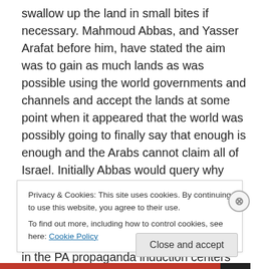swallow up the land in small bites if necessary. Mahmoud Abbas, and Yasser Arafat before him, have stated the aim was to gain as much lands as was possible using the world governments and channels and accept the lands at some point when it appeared that the world was possibly going to finally say that enough is enough and the Arabs cannot claim all of Israel. Initially Abbas would query why can't they claim all of Israel as he had done so long ago and that all of Israel is occupied Palestine which every school child is aware, referring to school children in the PA propaganda induction centers where good little terrorists
Privacy & Cookies: This site uses cookies. By continuing to use this website, you agree to their use.
To find out more, including how to control cookies, see here: Cookie Policy
Close and accept